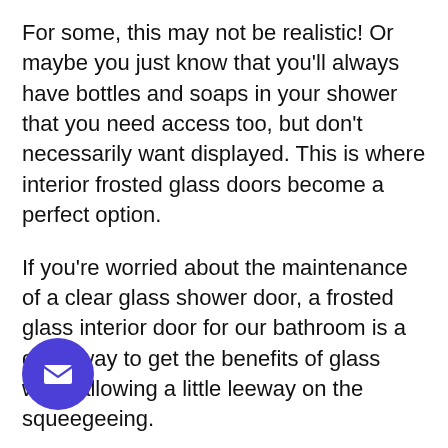For some, this may not be realistic! Or maybe you just know that you'll always have bottles and soaps in your shower that you need access too, but don't necessarily want displayed. This is where interior frosted glass doors become a perfect option.
If you're worried about the maintenance of a clear glass shower door, a frosted glass interior door for our bathroom is a great way to get the benefits of glass while allowing a little leeway on the squeegeeing.
When you have a glass shower door, you will squeegee after each use to keep the glass clear and avoid water spots.
[Figure (illustration): Purple circular email/chat button with white envelope icon, positioned at bottom-left of the page]